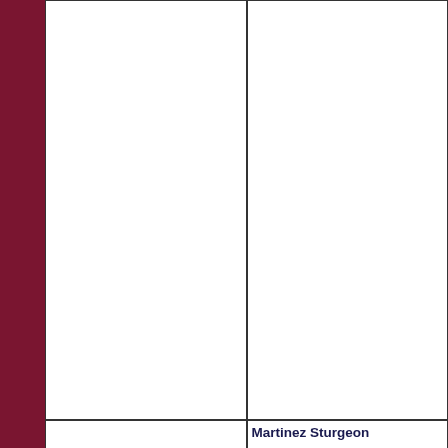[Figure (other): Empty white cell top-left, part of a grid layout]
[Figure (other): Empty white cell top-right, part of a grid layout]
[Figure (other): Empty white cell bottom-left, part of a grid layout]
Martinez Sturgeon
Ballpark: Waterfront
Ballpark Address: 12...
City: Martinez, CA 9...
http://www.Martinez...
2022 Schedule
Record: 19-31 (.380)
Year Founded: 2020
Martinez Sturgeon F...
Manager: Manny Co...
Elevation: 23
Time Zone: PST
Colors: Royal (Logo)
Phone: 575-680-2221